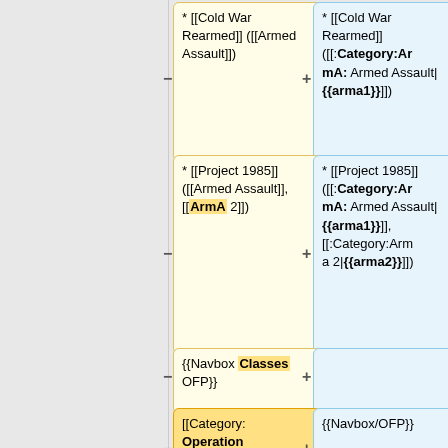[Figure (screenshot): Wikipedia diff view showing two columns of wiki markup. Left column shows old version in yellow boxes, right column shows new version in blue boxes. Content includes wiki links for Cold War Rearmed, Project 1985, Navbox Classes OFP, Category:Operation Flashpoint, and Category:Armed Assault.]